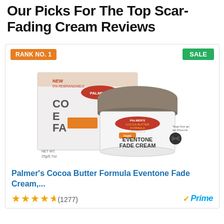Our Picks For The Top Scar-Fading Cream Reviews
RANK NO. 1
SALE
[Figure (photo): Palmer's Cocoa Butter Formula Eventone Fade Cream product photo showing jar and box packaging]
Palmer's Cocoa Butter Formula Eventone Fade Cream,...
★★★★½ (1277)
Prime